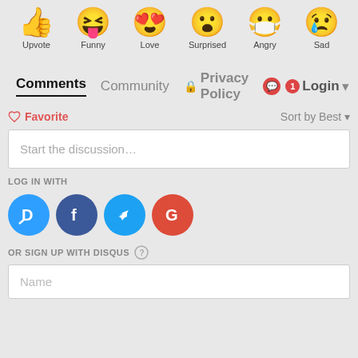[Figure (illustration): Six emoji reaction icons in a row: thumbs up (Upvote), laughing with tongue out (Funny), heart eyes (Love), surprised open mouth (Surprised), angry with mask (Angry), sad with tear (Sad)]
Comments  Community  Privacy Policy  Login
Favorite   Sort by Best
Start the discussion…
LOG IN WITH
[Figure (logo): Four social login icons: Disqus (blue D), Facebook (dark blue f), Twitter (light blue bird), Google (red G)]
OR SIGN UP WITH DISQUS ?
Name